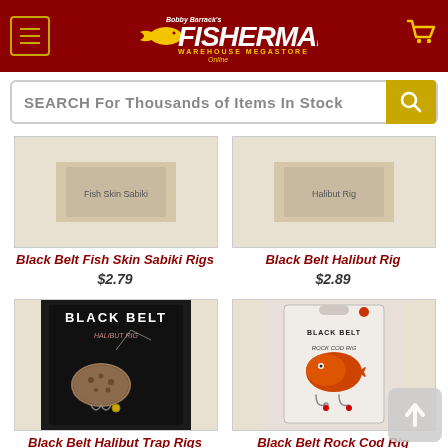[Figure (screenshot): Fisherman's Warehouse website header with dark red background, hamburger menu icon, Bobby Barrack's Fisherman's Warehouse Megastore Online logo in yellow, and shopping cart icon]
[Figure (screenshot): Search bar with text 'SEARCH For Thousands of Items In Stock' and yellow search button]
Black Belt Fish Skin Sabiki Rigs
$2.79
Black Belt Halibut Rig
$2.89
[Figure (photo): Black Belt Halibut Trap Rigs product photo showing packaging with fish lure]
[Figure (photo): Black Belt Rock Cod Rig product photo showing packaging with red fish and hooks]
Black Belt Halibut Trap Rigs
Black Belt Rock Cod Rig
$3.49